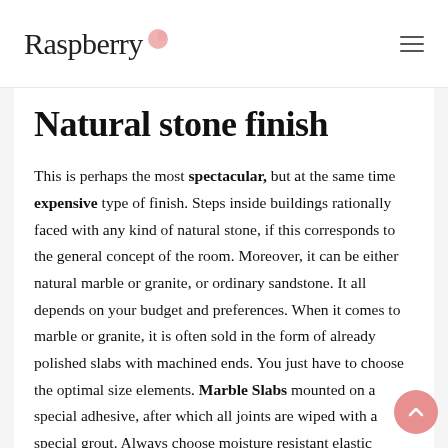Raspberry
Natural stone finish
This is perhaps the most spectacular, but at the same time expensive type of finish. Steps inside buildings rationally faced with any kind of natural stone, if this corresponds to the general concept of the room. Moreover, it can be either natural marble or granite, or ordinary sandstone. It all depends on your budget and preferences. When it comes to marble or granite, it is often sold in the form of already polished slabs with machined ends. You just have to choose the optimal size elements. Marble Slabs mounted on a special adhesive, after which all joints are wiped with a special grout. Always choose moisture resistant elastic compounds. Especially